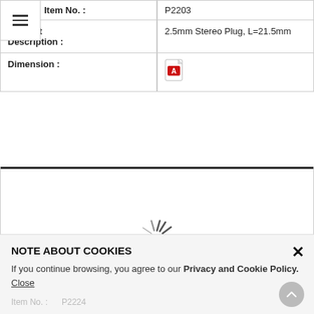| Item No. : | P2203 |
| Product Description : | 2.5mm Stereo Plug, L=21.5mm |
| Dimension : | [PDF icon] |
[Figure (illustration): Loading spinner animation (radiating lines indicating content loading) in a white content area below a thick black divider line]
[Figure (illustration): Mail envelope icon button on gray background at right edge]
NOTE ABOUT COOKIES
If you continue browsing, you agree to our Privacy and Cookie Policy. Close
Item No. :  P2224